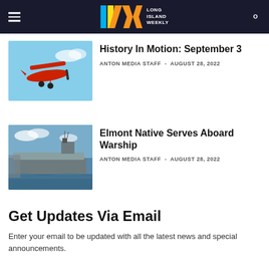Long Island Weekly
History In Motion: September 3
ANTON MEDIA STAFF – AUGUST 28, 2022
[Figure (photo): Red biplane flying in blue sky]
Elmont Native Serves Aboard Warship
ANTON MEDIA STAFF – AUGUST 28, 2022
[Figure (photo): Military warship/aircraft carrier at sea]
Get Updates Via Email
Enter your email to be updated with all the latest news and special announcements.